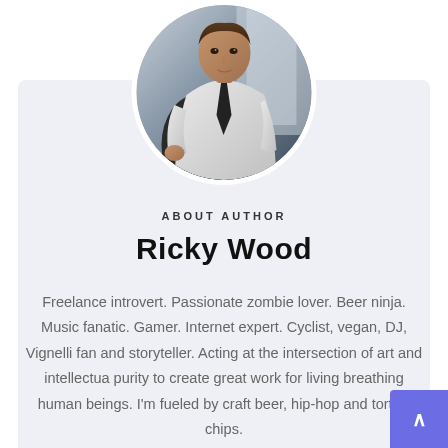[Figure (photo): Circular avatar photo of a man in a white dress shirt and dark tie, seated in a chair near a window, looking contemplatively to the side.]
ABOUT AUTHOR
Ricky Wood
Freelance introvert. Passionate zombie lover. Beer ninja. Music fanatic. Gamer. Internet expert. Cyclist, vegan, DJ, Vignelli fan and storyteller. Acting at the intersection of art and intellectual purity to create great work for living breathing human beings. I'm fueled by craft beer, hip-hop and tortilla chips.